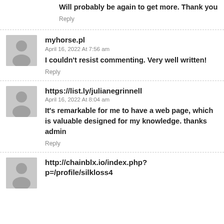Will probably be again to get more. Thank you
Reply
myhorse.pl
April 16, 2022 At 7:56 am
I couldn't resist commenting. Very well written!
Reply
https://list.ly/julianegrinnell
April 16, 2022 At 8:04 am
It's remarkable for me to have a web page, which is valuable designed for my knowledge. thanks admin
Reply
http://chainblx.io/index.php?p=/profile/silkloss4